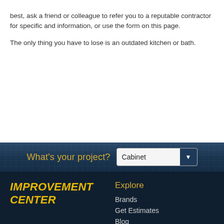best, ask a friend or colleague to refer you to a reputable contractor for specific and information, or use the form on this page.
The only thing you have to lose is an outdated kitchen or bath.
[Figure (screenshot): Website UI bar with label 'What's your project?' and a dropdown showing 'Cabinet']
[Figure (screenshot): Footer area with 'IMPROVEMENT CENTER' logo in yellow italic bold text and Explore navigation links: Brands, Get Estimates, Blog]